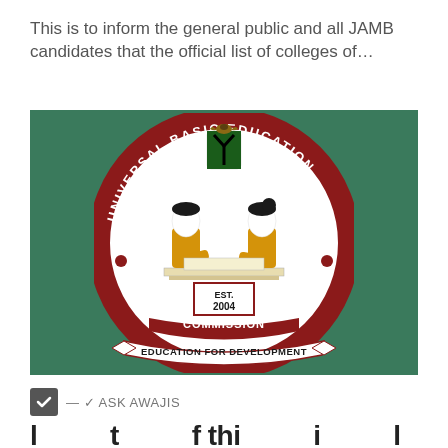This is to inform the general public and all JAMB candidates that the official list of colleges of…
[Figure (logo): Universal Basic Education Commission logo — circular seal with 'UNIVERSAL BASIC EDUCATION' around the top arc in dark red, two children in yellow uniforms studying at a desk, Nigerian coat of arms above them, 'EST. 2004' in white box below, 'COMMISSION' on banner at bottom, 'EDUCATION FOR DEVELOPMENT' on lower ribbon. Green background.]
— ✓ ASK AWAJIS
l          t          f thi          i          l